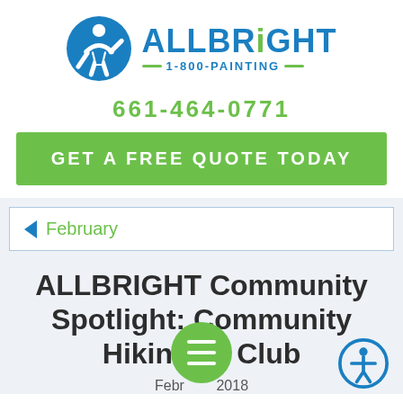[Figure (logo): ALLBRiGHT 1-800-PAINTING logo with blue circle icon and text]
661-464-0771
GET A FREE QUOTE TODAY
February
ALLBRIGHT Community Spotlight: Community Hiking Club
February 2018